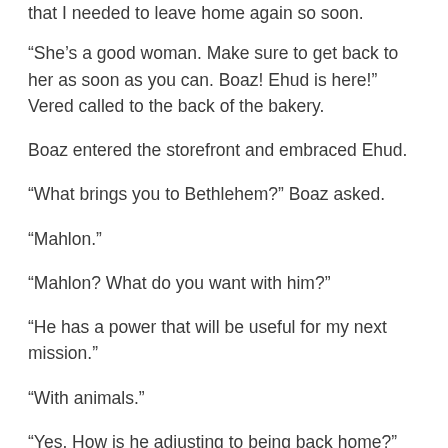that I needed to leave home again so soon.
“She’s a good woman. Make sure to get back to her as soon as you can. Boaz! Ehud is here!” Vered called to the back of the bakery.
Boaz entered the storefront and embraced Ehud.
“What brings you to Bethlehem?” Boaz asked.
“Mahlon.”
“Mahlon? What do you want with him?”
“He has a power that will be useful for my next mission.”
“With animals.”
“Yes. How is he adjusting to being back home?”